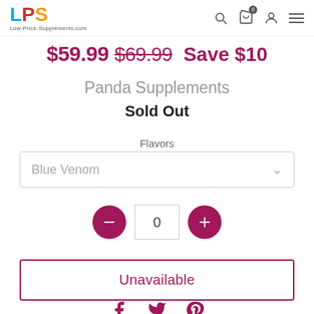LPS Low-Price-Supplements.com [search] [cart 0] [account] [menu]
$59.99 $69.99 Save $10
Panda Supplements
Sold Out
Flavors
Blue Venom
0
Unavailable
Facebook Twitter Pinterest